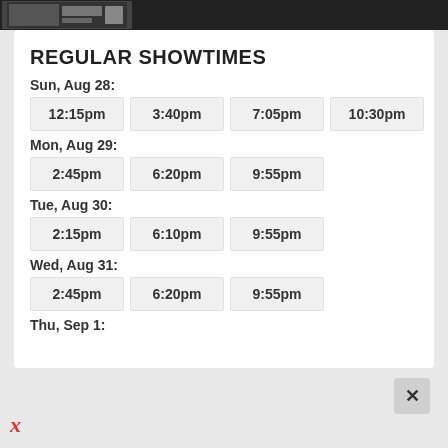REGULAR SHOWTIMES
Sun, Aug 28:
| 12:15pm | 3:40pm | 7:05pm | 10:30pm |
Mon, Aug 29:
| 2:45pm | 6:20pm | 9:55pm |
Tue, Aug 30:
| 2:15pm | 6:10pm | 9:55pm |
Wed, Aug 31:
| 2:45pm | 6:20pm | 9:55pm |
Thu, Sep 1: